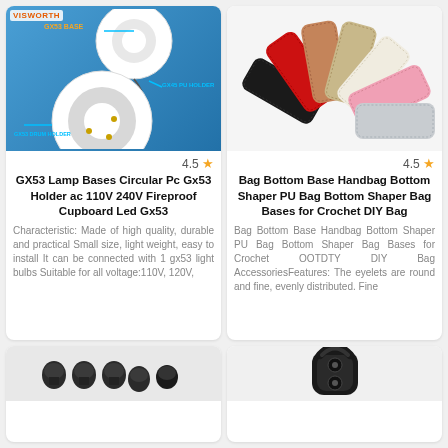[Figure (photo): GX53 lamp base and holder components on blue background with labels]
4.5 ★
GX53 Lamp Bases Circular Pc Gx53 Holder ac 110V 240V Fireproof Cupboard Led Gx53
Characteristic: Made of high quality, durable and practical Small size, light weight, easy to install It can be connected with 1 gx53 light bulbs Suitable for all voltage:110V, 120V,
[Figure (photo): Colorful PU leather bag bottom shapers in multiple colors fanned out]
4.5 ★
Bag Bottom Base Handbag Bottom Shaper PU Bag Bottom Shaper Bag Bases for Crochet DIY Bag
Bag Bottom Base Handbag Bottom Shaper PU Bag Bottom Shaper Bag Bases for Crochet OOTDTY DIY Bag AccessoriesFeatures: The eyelets are round and fine, evenly distributed. Fine
[Figure (photo): Small black metal components/fittings - partially visible at bottom]
[Figure (photo): Black plastic cord lock/toggle - partially visible at bottom right]